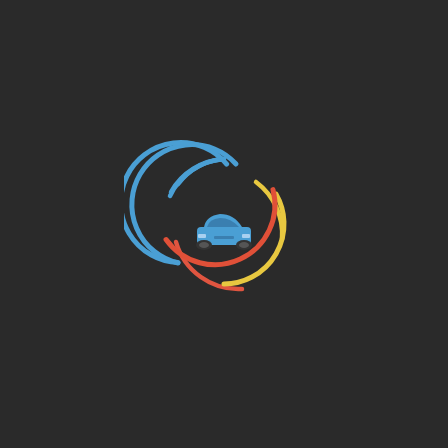[Figure (logo): A dark background with a centered logo consisting of a blue car icon (front view, sedan style) surrounded by three curved arc segments: a blue arc on the upper-left, a yellow arc on the upper-right, and a red/orange arc on the lower portion, forming a stylized circular pattern around the car.]